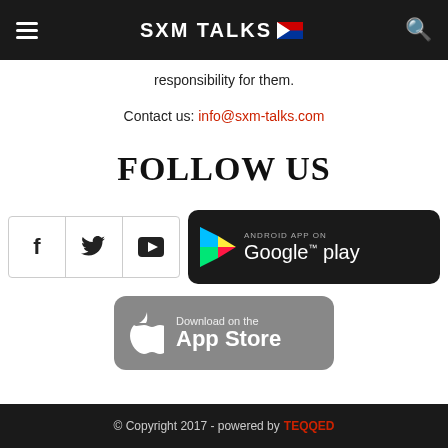SXM TALKS
responsibility for them.
Contact us: info@sxm-talks.com
FOLLOW US
[Figure (logo): Social media icons (Facebook, Twitter, YouTube) and Google Play store badge]
[Figure (logo): Download on the App Store badge]
© Copyright 2017 - powered by TEQQED